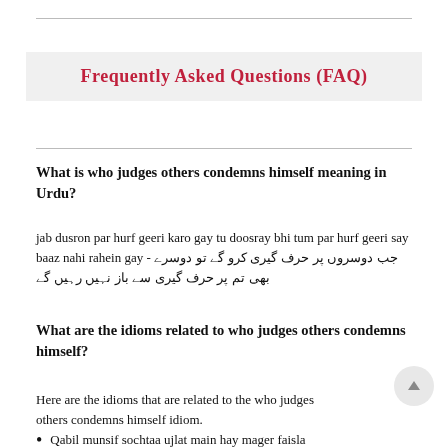Frequently Asked Questions (FAQ)
What is who judges others condemns himself meaning in Urdu?
jab dusron par hurf geeri karo gay tu doosray bhi tum par hurf geeri say baaz nahi rahein gay - جب دوسروں پر حرف گیری کرو گے تو دوسرے بھی تم پر حرف گیری سے باز نہیں رہیں گے
What are the idioms related to who judges others condemns himself?
Here are the idioms that are related to the who judges others condemns himself idiom.
Qabil munsif sochtaa ujlat main hay mager faisla